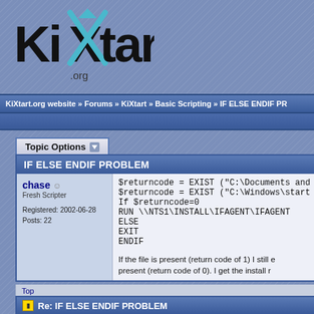[Figure (logo): KiXtart.org logo with stylized X in teal/white]
KiXtart.org website » Forums » KiXtart » Basic Scripting » IF ELSE ENDIF PR
Topic Options
IF ELSE ENDIF PROBLEM
chase
Fresh Scripter
Registered: 2002-06-28
Posts: 22
$returncode = EXIST ("C:\Documents and s...
$returncode = EXIST ("C:\Windows\start m...
If $returncode=0
RUN \\NTS1\INSTALL\IFAGENT\IFAGENT...
ELSE
EXIT
ENDIF

If the file is present (return code of 1) I still ...
present (return code of 0). I get the install r...
Top
Re: IF ELSE ENDIF PROBLEM
Lonkero
KiX Master Guru
easy.
it probably is in the first location.